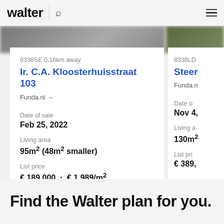walter
8338SE 0.16km away
Ir. C.A. Kloosterhuisstraat 103
Funda.nl →
Date of sale
Feb 25, 2022
Living area
95m² (48m² smaller)
List price
€ 189,000  ·  € 1,989/m²
8338LD
Steer
Funda.n
Date o
Nov 4,
Living a
130m²
List pri
€ 389,
Find the Walter plan for you.